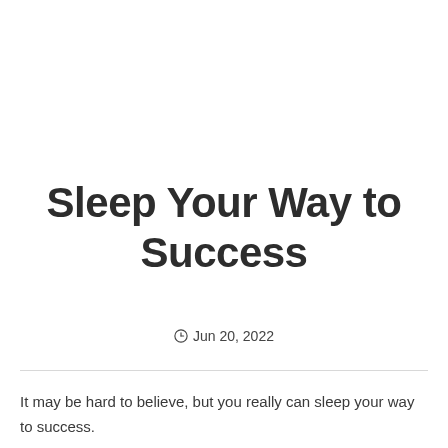Sleep Your Way to Success
© Jun 20, 2022
It may be hard to believe, but you really can sleep your way to success.